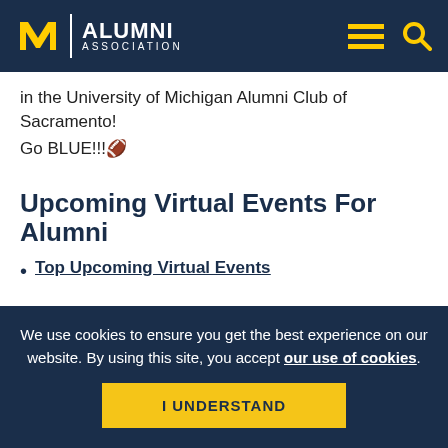University of Michigan Alumni Association
in the University of Michigan Alumni Club of Sacramento!
Go BLUE!!!🏈
Upcoming Virtual Events For Alumni
Top Upcoming Virtual Events
We use cookies to ensure you get the best experience on our website. By using this site, you accept our use of cookies.
I UNDERSTAND